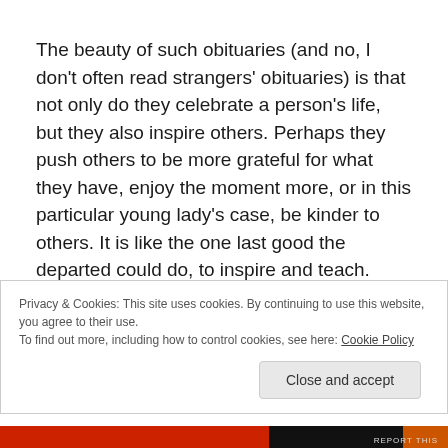The beauty of such obituaries (and no, I don't often read strangers' obituaries) is that not only do they celebrate a person's life, but they also inspire others. Perhaps they push others to be more grateful for what they have, enjoy the moment more, or in this particular young lady's case, be kinder to others. It is like the one last good the departed could do, to inspire and teach.
Privacy & Cookies: This site uses cookies. By continuing to use this website, you agree to their use.
To find out more, including how to control cookies, see here: Cookie Policy